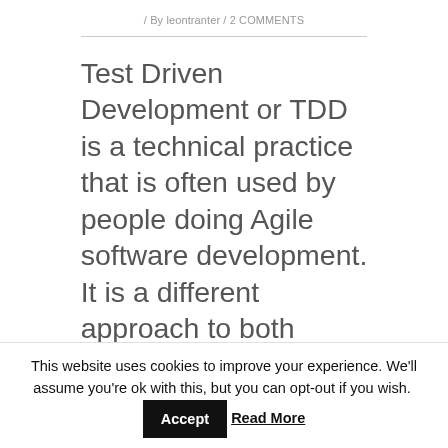/ By leontranter / 2 COMMENTS
Test Driven Development or TDD is a technical practice that is often used by people doing Agile software development. It is a different approach to both testing and development. It can be difficult and cumbersome at
This website uses cookies to improve your experience. We'll assume you're ok with this, but you can opt-out if you wish. Accept Read More